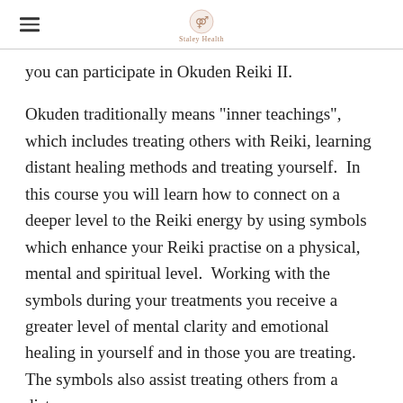Staley Health
you can participate in Okuden Reiki II.
Okuden traditionally means "inner teachings", which includes treating others with Reiki, learning distant healing methods and treating yourself.  In this course you will learn how to connect on a deeper level to the Reiki energy by using symbols which enhance your Reiki practise on a physical, mental and spiritual level.  Working with the symbols during your treatments you receive a greater level of mental clarity and emotional healing in yourself and in those you are treating.  The symbols also assist treating others from a distance.
At this level you will be trained on how to work professionally with Reiki.  Unlike other types of body work, Reiki enhances treatment outcomes without depleting your energy levels.